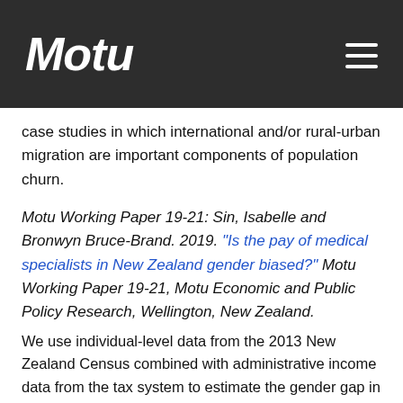Motu
case studies in which international and/or rural-urban migration are important components of population churn.
Motu Working Paper 19-21: Sin, Isabelle and Bronwyn Bruce-Brand. 2019. "Is the pay of medical specialists in New Zealand gender biased?" Motu Working Paper 19-21, Motu Economic and Public Policy Research, Wellington, New Zealand.
We use individual-level data from the 2013 New Zealand Census combined with administrative income data from the tax system to estimate the gender gap in hourly pay for the population of medical specialists employed in the New Zealand public health system. Unionisation of these doctors is 90 percent, and their union's MECA specifies their pay rates which should limit the opportunities for a gender